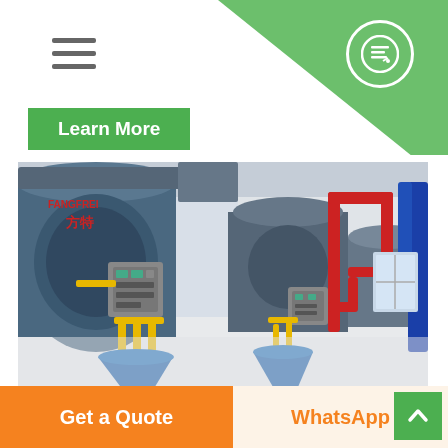Navigation bar with hamburger menu and quote icon
Learn More
[Figure (photo): Industrial boiler room with large blue gas boilers, yellow and red pipes, and Chinese text on equipment (方特/FANGFREI branding). Multiple boiler units lined up in a white-walled facility with polished floor.]
Best Selling 4t Gas
Get a Quote | WhatsApp